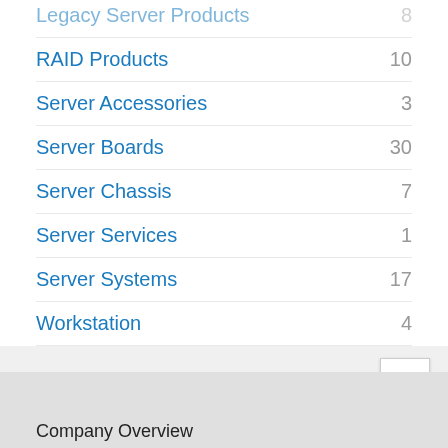Legacy Server Products   8
RAID Products   10
Server Accessories   3
Server Boards   30
Server Chassis   7
Server Services   1
Server Systems   17
Workstation   4
For more complete information about compiler optimizations, see our Optimization Notice.
Company Overview